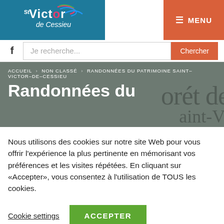[Figure (logo): St Victor de Cessieu municipality logo on teal background]
≡ MENU
Je recherche...  Chercher
ACCUEIL › NON CLASSÉ › RANDONNÉES DU PATRIMOINE SAINT–VICTOR–DE–CESSIEU
Randonnées du
Nous utilisons des cookies sur notre site Web pour vous offrir l'expérience la plus pertinente en mémorisant vos préférences et les visites répétées. En cliquant sur «Accepter», vous consentez à l'utilisation de TOUS les cookies.
Cookie settings  ACCEPTER